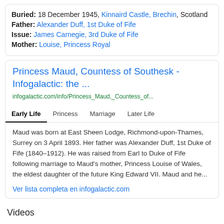Buried: 18 December 1945, Kinnaird Castle, Brechin, Scotland
Father: Alexander Duff, 1st Duke of Fife
Issue: James Carnegie, 3rd Duke of Fife
Mother: Louise, Princess Royal
Princess Maud, Countess of Southesk - Infogalactic: the ...
infogalactic.com/info/Princess_Maud,_Countess_of...
Early Life | Princess | Marriage | Later Life
Maud was born at East Sheen Lodge, Richmond-upon-Thames, Surrey on 3 April 1893. Her father was Alexander Duff, 1st Duke of Fife (1840–1912). He was raised from Earl to Duke of Fife following marriage to Maud's mother, Princess Louise of Wales, the eldest daughter of the future King Edward VII. Maud and he...
Ver lista completa en infogalactic.com
Videos